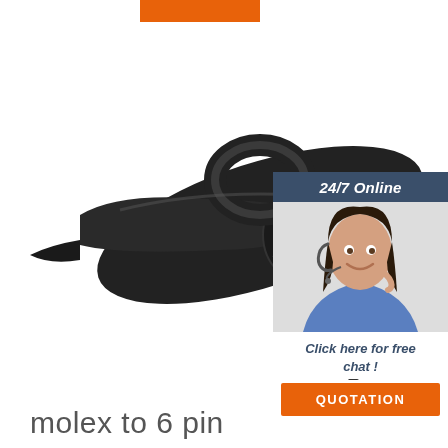[Figure (other): Orange rectangular banner/bar at top]
[Figure (photo): Black handheld car vacuum cleaner with cigarette lighter plug and cord on white background]
[Figure (infographic): 24/7 Online chat widget with dark blue header saying '24/7 Online', photo of smiling female customer service agent with headset, text 'Click here for free chat!', and orange QUOTATION button]
molex to 6 pin